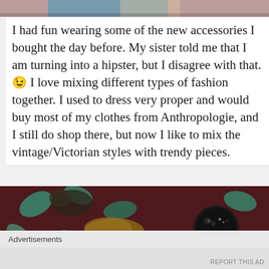[Figure (photo): Partial top of a photo showing what appears to be a person wearing blue/teal accessories, cropped at the top of the page.]
I had fun wearing some of the new accessories I bought the day before. My sister told me that I am turning into a hipster, but I disagree with that. 😉 I love mixing different types of fashion together. I used to dress very proper and would buy most of my clothes from Anthropologie, and I still do shop there, but now I like to mix the vintage/Victorian styles with trendy pieces.
[Figure (photo): A dark photograph showing accessories laid on a floral fabric background — appears to show sunglasses and other accessories on a red/teal patterned cloth.]
Advertisements